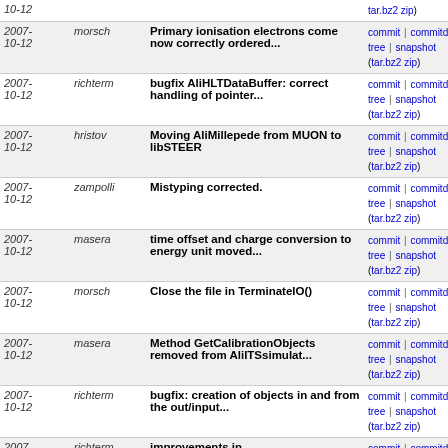| Date | Author | Message | Links |
| --- | --- | --- | --- |
| 2007-10-12 | morsch | Primary ionisation electrons come now correctly ordered... | commit | commitdiff | tree | snapshot (tar.bz2 zip) |
| 2007-10-12 | richterm | bugfix AliHLTDataBuffer: correct handling of pointer... | commit | commitdiff | tree | snapshot (tar.bz2 zip) |
| 2007-10-12 | hristov | Moving AliMillepede from MUON to libSTEER | commit | commitdiff | tree | snapshot (tar.bz2 zip) |
| 2007-10-12 | zampolli | Mistyping corrected. | commit | commitdiff | tree | snapshot (tar.bz2 zip) |
| 2007-10-12 | masera | time offset and charge conversion to energy unit moved... | commit | commitdiff | tree | snapshot (tar.bz2 zip) |
| 2007-10-12 | morsch | Close the file in TerminateIO() | commit | commitdiff | tree | snapshot (tar.bz2 zip) |
| 2007-10-12 | masera | Method GetCalibrationObjects removed from AliITSsimulat... | commit | commitdiff | tree | snapshot (tar.bz2 zip) |
| 2007-10-12 | richterm | bugfix: creation of objects in and from the out/input... | commit | commitdiff | tree | snapshot (tar.bz2 zip) |
| 2007-10-12 | richterm | improvements in RawReaderPublisher (merged from v4... | commit | commitdiff | tree | snapshot (tar.bz2 zip) |
| 2007-10-12 | richterm | bugfix: option key has been changed | commit | commitdiff | tree | snapshot (tar.bz2 zip) |
| 2007-10-12 | richterm | bugfix: implement low level GetEvent method, otherwise... | commit | commitdiff | tree | snapshot (tar.bz2 zip) |
| 2007-10-11 | masera | new class AliITSClusterParam. It has GetError and GetNT... | commit | commitdiff | tree | snapshot (tar.bz2 zip) |